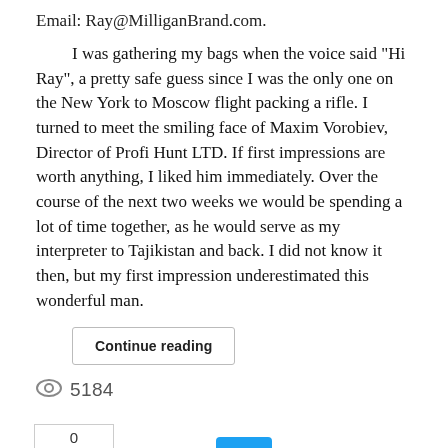Email: Ray@MilliganBrand.com.
I was gathering my bags when the voice said "Hi Ray", a pretty safe guess since I was the only one on the New York to Moscow flight packing a rifle. I turned to meet the smiling face of Maxim Vorobiev, Director of Profi Hunt LTD. If first impressions are worth anything, I liked him immediately. Over the course of the next two weeks we would be spending a lot of time together, as he would serve as my interpreter to Tajikistan and back. I did not know it then, but my first impression underestimated this wonderful man.
Continue reading
5184
[Figure (screenshot): Social sharing buttons: LinkedIn share with count 0, Facebook Like, and Twitter share button]